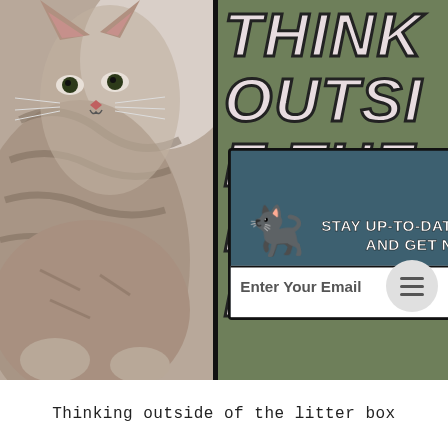[Figure (screenshot): Screenshot of a cat blog website showing a tabby cat photo on the left, a green banner with 'THINK OUTSIDE THE LITTER BOX' text on the right, and an email subscription popup overlay in the center with cartoon cat icons, text reading 'STAY UP-TO-DATE WITH MOMMA KAT AND HER BEAR CAT AND GET NOTIFIED OF NEW POSTS BY EMAIL!', an email input field, and a Subscribe button. A hamburger menu button appears at bottom right.]
Thinking outside of the litter box